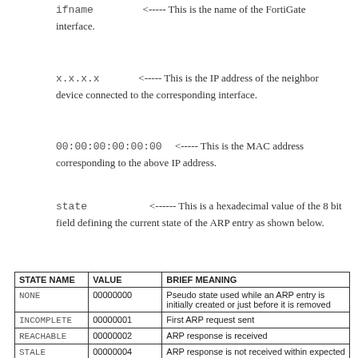ifname <----- This is the name of the FortiGate interface.
x.x.x.x <----- This is the IP address of the neighbor device connected to the corresponding interface.
00:00:00:00:00:00 <----- This is the MAC address corresponding to the above IP address.
state <------ This is a hexadecimal value of the 8 bit field defining the current state of the ARP entry as shown below.
| STATE NAME | VALUE | BRIEF MEANING |
| --- | --- | --- |
| NONE | 00000000 | Pseudo state used while an ARP entry is initially created or just before it is removed |
| INCOMPLETE | 00000001 | First ARP request sent |
| REACHABLE | 00000002 | ARP response is received |
| STALE | 00000004 | ARP response is not received within expected time |
| DELAY | 00000008 | Schedule ARP request |
| PROBE | 00000010 | Actively sending ARP requests to try and resolve the |